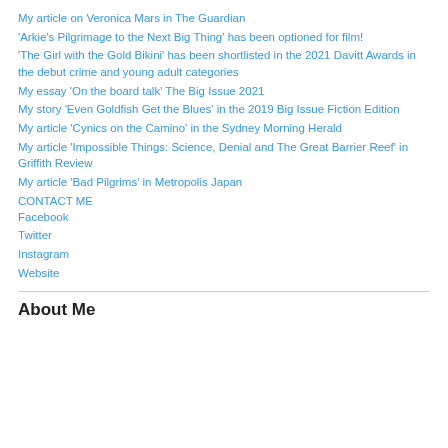My article on Veronica Mars in The Guardian
'Arkie's Pilgrimage to the Next Big Thing' has been optioned for film!
'The Girl with the Gold Bikini' has been shortlisted in the 2021 Davitt Awards in the debut crime and young adult categories
My essay 'On the board talk' The Big Issue 2021
My story 'Even Goldfish Get the Blues' in the 2019 Big Issue Fiction Edition
My article 'Cynics on the Camino' in the Sydney Morning Herald
My article 'Impossible Things: Science, Denial and The Great Barrier Reef' in Griffith Review
My article 'Bad Pilgrims' in Metropolis Japan
CONTACT ME
Facebook
Twitter
Instagram
Website
About Me